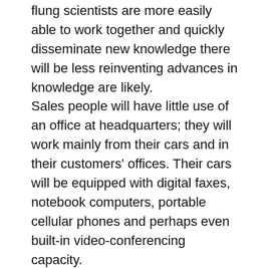flung scientists are more easily able to work together and quickly disseminate new knowledge there will be less reinventing advances in knowledge are likely.
Sales people will have little use of an office at headquarters; they will work mainly from their cars and in their customers' offices. Their cars will be equipped with digital faxes, notebook computers, portable cellular phones and perhaps even built-in video-conferencing capacity.
Doctors will team up far more than they do today, working with teams of other physicians, nurses, technicians, and therapists. Expert systems will complement and enhance doctors' skills filling in